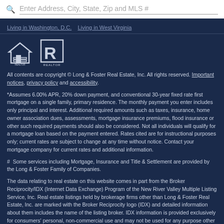Enter Address, City, State, Zip and MLS #
Living in Washington, D.C.     Living in West Virginia
[Figure (logo): Equal Housing Opportunity and REALTOR logos]
All contents are copyright © Long & Foster Real Estate, Inc. All rights reserved. Important notices, privacy policy and accessibility.
*Assumes 6.00% APR, 20% down payment, and conventional 30-year fixed rate first mortgage on a single family, primary residence. The monthly payment you enter includes only principal and interest. Additional required amounts such as taxes, insurance, home owner association dues, assessments, mortgage insurance premiums, flood insurance or other such required payments should also be considered. Not all individuals will qualify for a mortgage loan based on the payment entered. Rates cited are for instructional purposes only; current rates are subject to change at any time without notice. Contact your mortgage company for current rates and additional information.
#  Some services including Mortgage, Insurance and Title & Settlement are provided by the Long & Foster Family of Companies.
The data relating to real estate on this website comes in part from the Broker Reciprocity/IDX (Internet Data Exchange) Program of the New River Valley Multiple Listing Service, Inc. Real estate listings held by brokerage firms other than Long & Foster Real Estate, Inc. are marked with the Broker Reciprocity logo (IDX) and detailed information about them includes the name of the listing broker. IDX information is provided exclusively for consumers' personal, non-commercial use and may not be used for any purpose other than to identify prospective properties consumers may be interested in purchasing. The data relating to real estate for sale on this website comes in part from the (IDX) Internet Data Exchange Program of the Albemarle Area Association of Realtors, Multiple Listing Service. Real estate listings held by brokerage firms other than